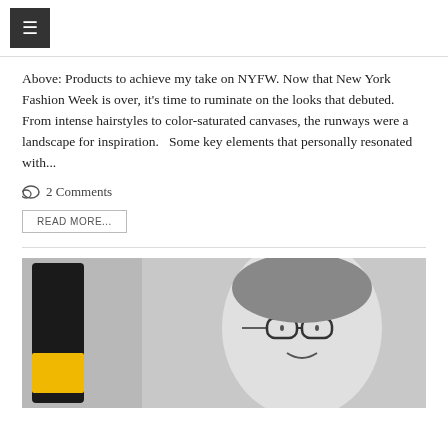☰ (menu button)
Above: Products to achieve my take on NYFW. Now that New York Fashion Week is over, it's time to ruminate on the looks that debuted.  From intense hairstyles to color-saturated canvases, the runways were a landscape for inspiration.   Some key elements that personally resonated with...
💬 2 Comments
READ MORE...
[Figure (photo): A product photo showing a dark bottle with a yellow label next to a black-and-white illustration of a woman wearing glasses, on a grey background.]